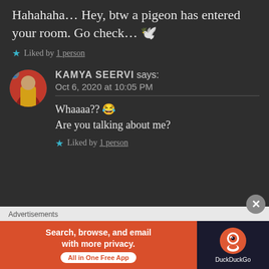Hahahaha… Hey, btw a pigeon has entered your room. Go check… 🕊
★ Liked by 1 person
KAMYA SEERVI says: Oct 6, 2020 at 10:05 PM
Whaaaa?? 😂 Are you talking about me?
★ Liked by 1 person
Advertisements
[Figure (screenshot): DuckDuckGo advertisement banner: orange section with text 'Search, browse, and email with more privacy. All in One Free App' and dark section with DuckDuckGo logo]